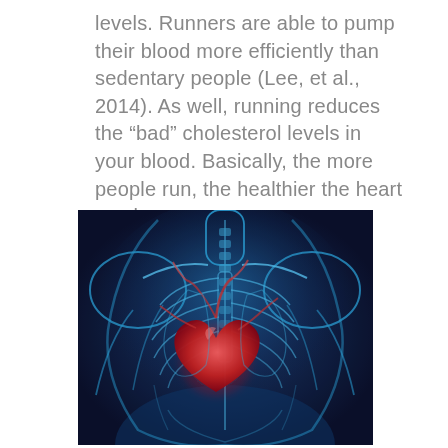levels. Runners are able to pump their blood more efficiently than sedentary people (Lee, et al., 2014). As well, running reduces the "bad" cholesterol levels in your blood. Basically, the more people run, the healthier the heart can be.
[Figure (illustration): Medical illustration of a human torso showing a transparent X-ray-style view of the chest cavity with a glowing red heart visible inside the rib cage, rendered in blue tones against a dark background.]